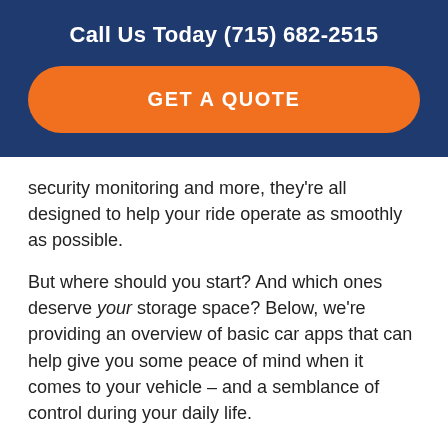Call Us Today (715) 682-2515
GET A QUOTE
security monitoring and more, they're all designed to help your ride operate as smoothly as possible.
But where should you start? And which ones deserve your storage space? Below, we're providing an overview of basic car apps that can help give you some peace of mind when it comes to your vehicle – and a semblance of control during your daily life.